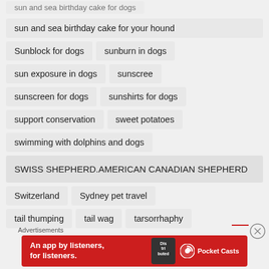sun and sea birthday cake for your hound
Sunblock for dogs
sunburn in dogs
sun exposure in dogs
sunscree
sunscreen for dogs
sunshirts for dogs
support conservation
sweet potatoes
swimming with dolphins and dogs
SWISS SHEPHERD.AMERICAN CANADIAN SHEPHERD
Switzerland
Sydney pet travel
tail thumping
tail wag
tarsorrhaphy
[Figure (screenshot): Advertisement banner for Pocket Casts app: red background with text 'An app by listeners, for listeners.' and Pocket Casts logo]